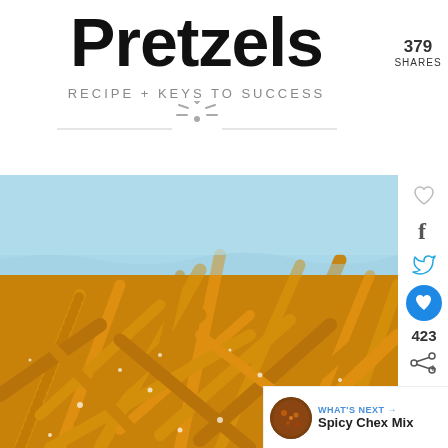Pretzels
RECIPE + KEYS TO SUCCESS
379 SHARES
[Figure (photo): Close-up photo of a large pile of seasoned pretzel sticks with salt crystals and seasoning visible, on a light blue background]
423
WHAT'S NEXT → Spicy Chex Mix